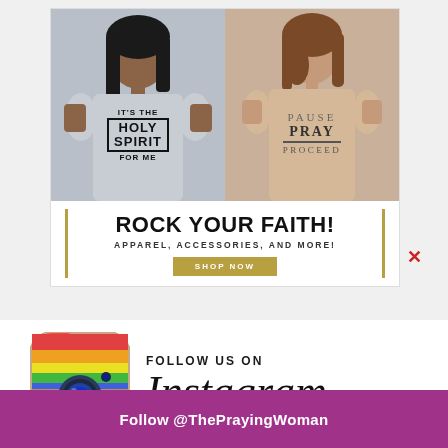[Figure (photo): Two women wearing faith-themed t-shirts. Left: gray shirt reading IT'S THE HOLY SPIRIT FOR ME. Right: tan shirt reading PAUSE PRAY PROCEED.]
ROCK YOUR FAITH!
APPAREL, ACCESSORIES, AND MORE!
SHOP NOW
[Figure (logo): Instagram camera icon logo]
FOLLOW US ON Instagram
Follow @ThePrayingWoman